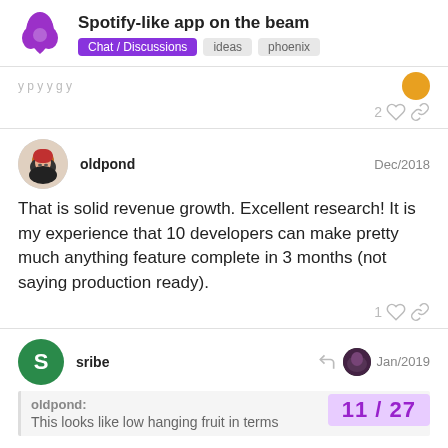Spotify-like app on the beam | Chat / Discussions · ideas · phoenix
That is solid revenue growth. Excellent research! It is my experience that 10 developers can make pretty much anything feature complete in 3 months (not saying production ready).
oldpond Dec/2018
sribe Jan/2019
oldpond: This looks like low hanging fruit in terms
11 / 27